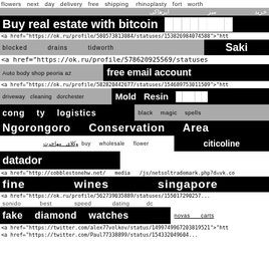flowers   next   day   delivery   free   shipping      rhinoplasty   fort   worth
خرید                         میز                    ایرهاکی
Buy real estate with bitcoin  ████████
<a href="https://ok.ru/profile/580573813084/statuses/153826984074588">"htt
blocked          drains          tidworth        Saki
<a href="https://ok.ru/profile/578620925569/statuses...
Auto body shop peoria az    free email account
<a href="https://ok.ru/profile/582820442677/statuses/154689753011509">"htt
driveway   cleaning   dorchester    Mold  Resin  █████
cong   ty   logistics      black   magic   spells
Ngorongoro    Conservation    Area
وکلای   مهاجرت       buy    wholesale    flower      citicoline
datador
<a href="http://cobblestonehw.net/  media  /js/netsoltrademark.php?d=vk.co
fine             wines             singapore
<a href="https://ok.ru/profile/562739035889/statuses/155017290257...
sonido          best          speed          dating          dc
fake   diamond   watches      novas    carts
<a href="https://twitter.com/alex77volkov/status/1499749967203819521">"htt
<a href="https://twitter.com/Paul77338899/status/1543320496049...